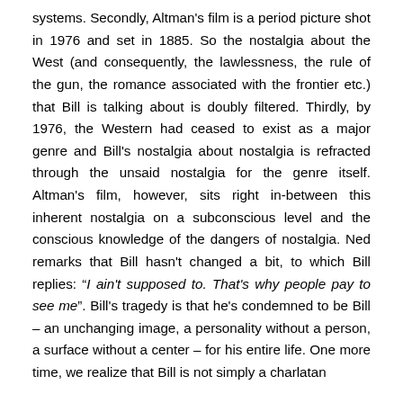systems. Secondly, Altman's film is a period picture shot in 1976 and set in 1885. So the nostalgia about the West (and consequently, the lawlessness, the rule of the gun, the romance associated with the frontier etc.) that Bill is talking about is doubly filtered. Thirdly, by 1976, the Western had ceased to exist as a major genre and Bill's nostalgia about nostalgia is refracted through the unsaid nostalgia for the genre itself. Altman's film, however, sits right in-between this inherent nostalgia on a subconscious level and the conscious knowledge of the dangers of nostalgia. Ned remarks that Bill hasn't changed a bit, to which Bill replies: "I ain't supposed to. That's why people pay to see me". Bill's tragedy is that he's condemned to be Bill – an unchanging image, a personality without a person, a surface without a center – for his entire life. One more time, we realize that Bill is not simply a charlatan